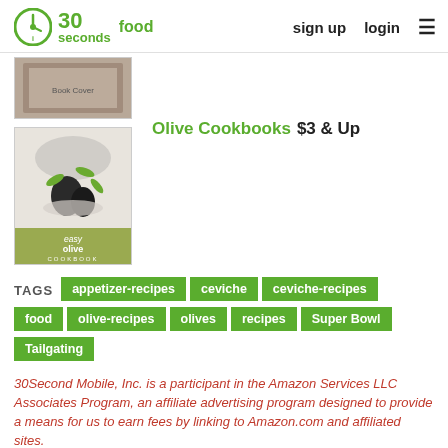30 seconds food | sign up | login
[Figure (photo): Partial book cover image at top]
[Figure (photo): Easy Olive Cookbook cover with olive branch and olives]
Olive Cookbooks  $3 & Up
TAGS  appetizer-recipes  ceviche  ceviche-recipes  food  olive-recipes  olives  recipes  Super Bowl  Tailgating
30Second Mobile, Inc. is a participant in the Amazon Services LLC Associates Program, an affiliate advertising program designed to provide a means for us to earn fees by linking to Amazon.com and affiliated sites.